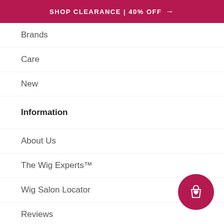SHOP CLEARANCE | 40% OFF →
Brands
Care
New
Information
About Us
The Wig Experts™
Wig Salon Locator
Reviews
[Figure (illustration): Circular crimson button with a shopping bag icon with a heart inside]